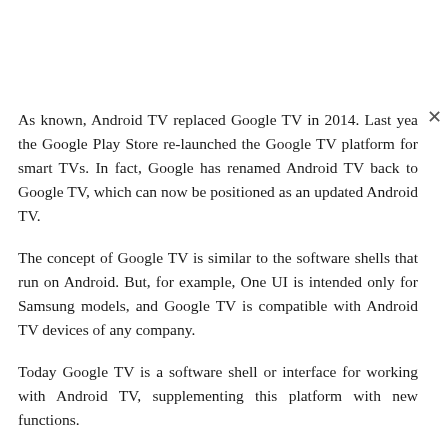As known, Android TV replaced Google TV in 2014. Last year, the Google Play Store re-launched the Google TV platform for smart TVs. In fact, Google has renamed Android TV back to Google TV, which can now be positioned as an updated Android TV.
The concept of Google TV is similar to the software shells that run on Android. But, for example, One UI is intended only for Samsung models, and Google TV is compatible with Android TV devices of any company.
Today Google TV is a software shell or interface for working with Android TV, supplementing this platform with new functions.